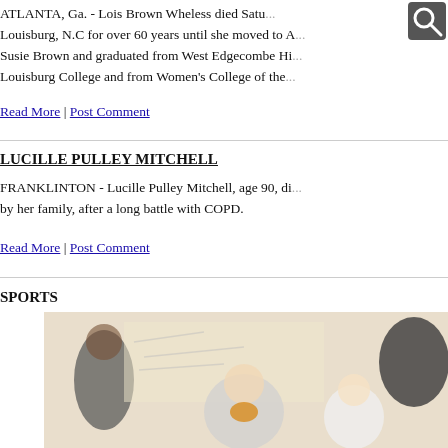ATLANTA, Ga. - Lois Brown Wheless died Satu... Louisburg, N.C for over 60 years until she moved to A... Susie Brown and graduated from West Edgecombe Hi... Louisburg College and from Women's College of the...
Read More | Post Comment
LUCILLE PULLEY MITCHELL
FRANKLINTON - Lucille Pulley Mitchell, age 90, di... by her family, after a long battle with COPD.
Read More | Post Comment
SPORTS
[Figure (photo): Indoor sports scene, blurred figures of people in a gymnasium or sports facility with a pale yellow background wall.]